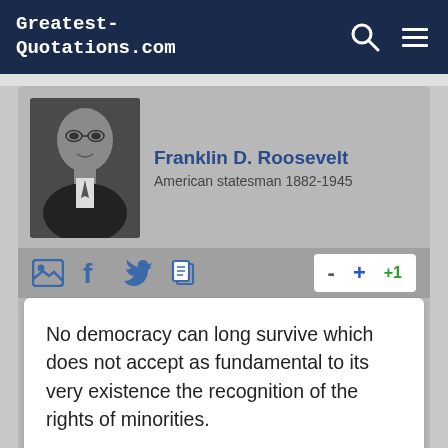Greatest-Quotations.com
Franklin D. Roosevelt
American statesman 1882-1945
No democracy can long survive which does not accept as fundamental to its very existence the recognition of the rights of minorities.
Joseph Rudyard Kipling
English writer 1865-1936